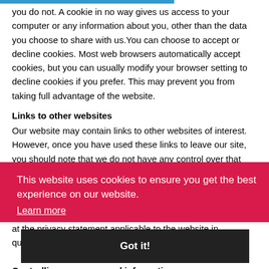you do not. A cookie in no way gives us access to your computer or any information about you, other than the data you choose to share with us. You can choose to accept or decline cookies. Most web browsers automatically accept cookies, but you can usually modify your browser setting to decline cookies if you prefer. This may prevent you from taking full advantage of the website.
Links to other websites
Our website may contain links to other websites of interest. However, once you have used these links to leave our site, you should note that we do not have any control over that other website. Therefore, we cannot be responsible for the protection and privacy of any information which you provide whilst visiting such sites and such sites are not governed by this privacy statement. You should exercise caution and look at the privacy statement applicable to the website in question.
This website uses cookies to ensure you get the best experience on our website. Learn more
Got it!
Controlling your personal information
We will not sell, distribute or lease your personal information to